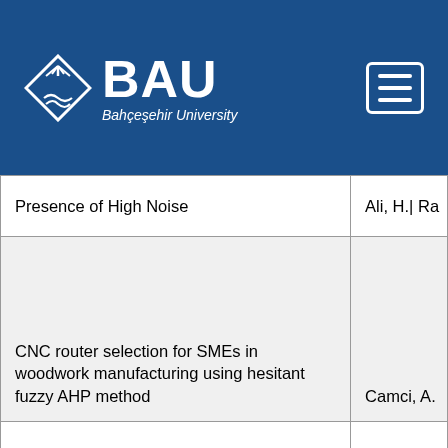BAU Bahçeşehir University
| Title | Author |
| --- | --- |
| Presence of High Noise | Ali, H.| Ra... |
| CNC router selection for SMEs in woodwork manufacturing using hesitant fuzzy AHP method | Camci, A.... |
| A comparison of activation functions in artificial neural networks | Bircanoglu... |
|  |  |